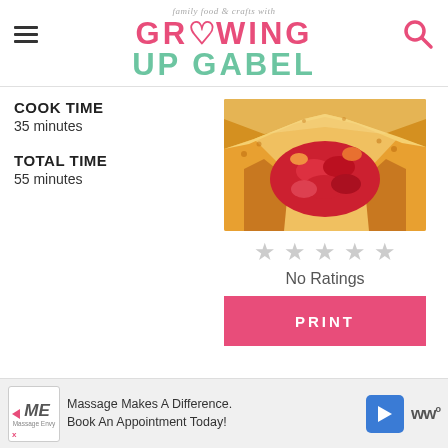family food & crafts with GROWING UP GABEL
COOK TIME
35 minutes
TOTAL TIME
55 minutes
[Figure (photo): A galette or rustic pie with golden pastry crust folded around red fruit filling (strawberries/tomatoes)]
No Ratings
PRINT
Massage Makes A Difference. Book An Appointment Today!